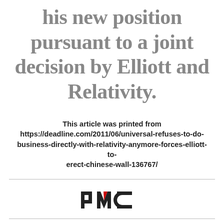his new position pursuant to a joint decision by Elliott and Relativity.
This article was printed from https://deadline.com/2011/06/universal-refuses-to-do-business-directly-with-relativity-anymore-forces-elliott-to-erect-chinese-wall-136767/
[Figure (logo): PMC (Penske Media Corporation) logo with red accent on the M]
Deadline is a part of Penske Media Corporation. © 2022 Deadline Hollywood, LLC. All Rights Reserved.